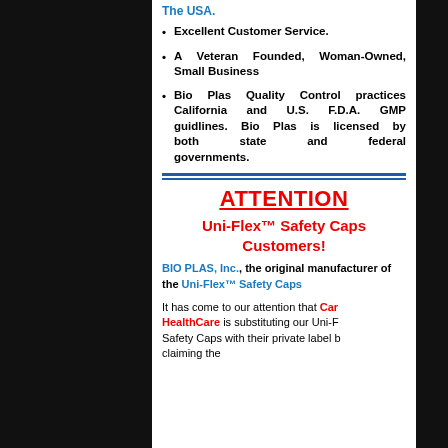The USA.
Excellent Customer Service.
A Veteran Founded, Woman-Owned, Small Business
Bio Plas Quality Control practices California and U.S. F.D.A. GMP guidlines. Bio Plas is licensed by both state and federal governments.
ATTENTION
Uni-Flex™ Safety Caps Customers!
BIO PLAS, Inc., the original manufacturer of the Uni-Flex™ Safety Caps
It has come to our attention that Cardinal HealthCare is substituting our Uni-Flex™ Safety Caps with their private label by claiming the BIO PLAS...